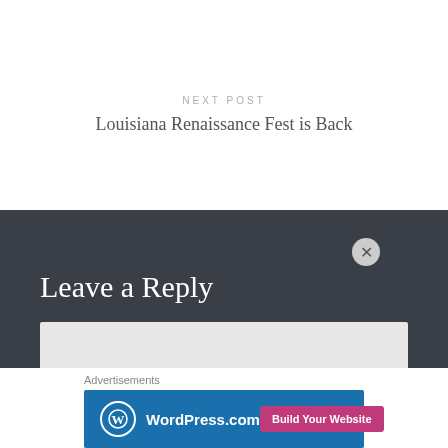NEXT POST
Louisiana Renaissance Fest is Back
Leave a Reply
Advertisements
[Figure (screenshot): WordPress.com advertisement banner with blue background, WordPress logo, and 'Build Your Website' pink button]